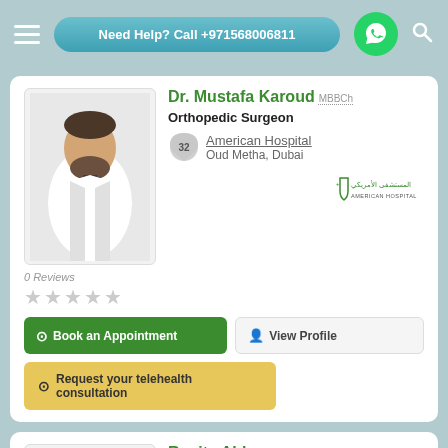Need Help? Call +971568006811
Dr. Mustafa Karoud MBBCh
Orthopedic Surgeon
32 American Hospital
Oud Metha, Dubai
0 Reviews
Book an Appointment
View Profile
Request your telehealth consultation
Rosita Abla
Psychologist
33 American Center for Psychiatry